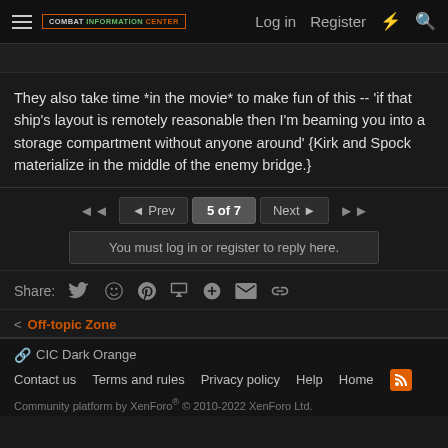Combat Information Center — Log in  Register
They also take time *in the movie* to make fun of this -- 'if that ship's layout is remotely reasonable then I'm beaming you into a storage compartment without anyone around' {Kirk and Spock materialize in the middle of the enemy bridge.}
◄◄  ◄ Prev  5 of 7  Next ►  ►►  You must log in or register to reply here.
Share: Twitter Reddit Pinterest Tumblr WhatsApp Email Link
< Off-topic Zone
🔗 CIC Dark Orange  Contact us  Terms and rules  Privacy policy  Help  Home  [RSS]  Community platform by XenForo® © 2010-2022 XenForo Ltd.